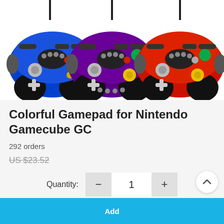[Figure (photo): Three GameCube controllers shown side by side — blue (left), purple (center), and red/black (right), each with cables extending upward from the top of the image on a white background.]
Colorful Gamepad for Nintendo Gamecube GC
292 orders
US $23.52
Quantity: 1